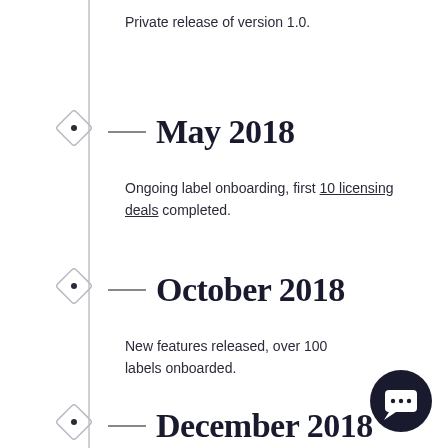Private release of version 1.0.
May 2018
Ongoing label onboarding, first 10 licensing deals completed.
October 2018
New features released, over 100 labels onboarded.
December 2018